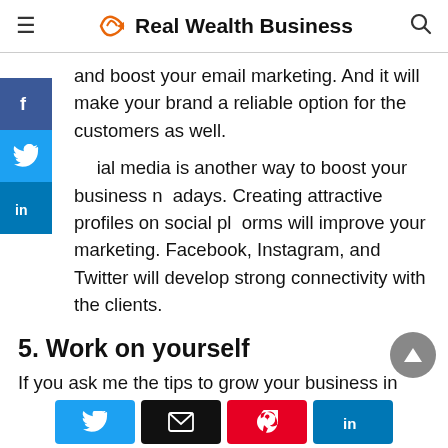Real Wealth Business
and boost your email marketing. And it will make your brand a reliable option for the customers as well.
Social media is another way to boost your business nowadays. Creating attractive profiles on social platforms will improve your marketing. Facebook, Instagram, and Twitter will develop strong connectivity with the clients.
5. Work on yourself
If you ask me the tips to grow your business in 2022, I will tell you to focus on smart work instead of hard